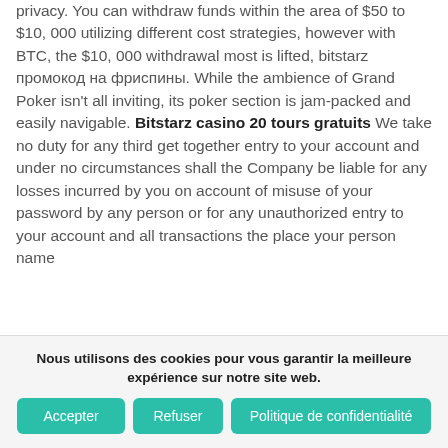privacy. You can withdraw funds within the area of $50 to $10, 000 utilizing different cost strategies, however with BTC, the $10, 000 withdrawal most is lifted, bitstarz промокод на фриспины. While the ambience of Grand Poker isn't all inviting, its poker section is jam-packed and easily navigable. Bitstarz casino 20 tours gratuits We take no duty for any third get together entry to your account and under no circumstances shall the Company be liable for any losses incurred by you on account of misuse of your password by any person or for any unauthorized entry to your account and all transactions the place your person name
Nous utilisons des cookies pour vous garantir la meilleure expérience sur notre site web.
Accepter
Refuser
Politique de confidentialité